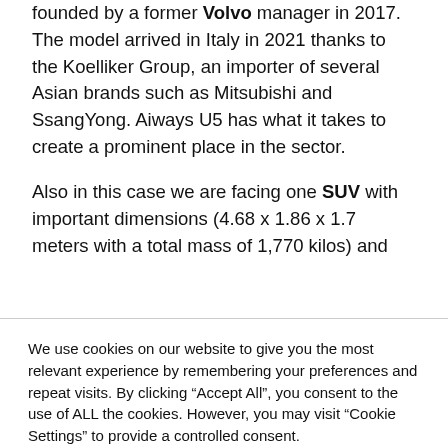founded by a former Volvo manager in 2017. The model arrived in Italy in 2021 thanks to the Koelliker Group, an importer of several Asian brands such as Mitsubishi and SsangYong. Aiways U5 has what it takes to create a prominent place in the sector.
Also in this case we are facing one SUV with important dimensions (4.68 x 1.86 x 1.7 meters with a total mass of 1,770 kilos) and
We use cookies on our website to give you the most relevant experience by remembering your preferences and repeat visits. By clicking “Accept All”, you consent to the use of ALL the cookies. However, you may visit "Cookie Settings" to provide a controlled consent.